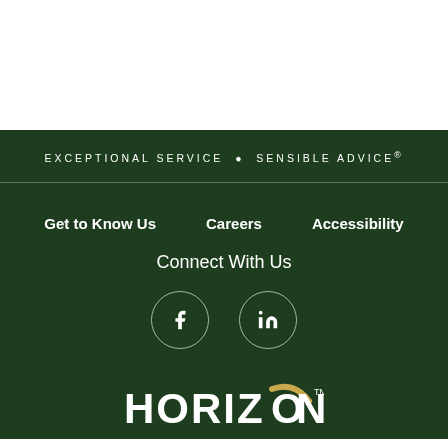EXCEPTIONAL SERVICE  •  SENSIBLE ADVICE®
Get to Know Us    Careers    Accessibility
Connect With Us
[Figure (logo): Facebook circle icon and LinkedIn circle icon, white outlines on dark green background]
[Figure (logo): Horizon logo in white and gold on dark green background]
Contact Us